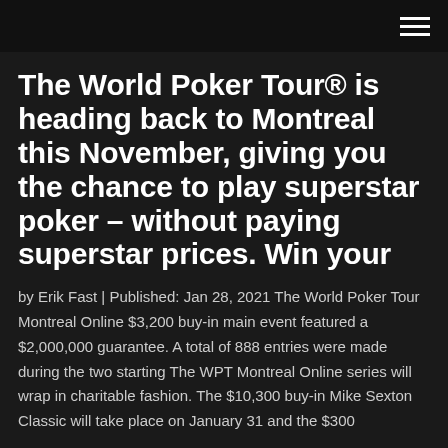The World Poker Tour® is heading back to Montreal this November, giving you the chance to play superstar poker – without paying superstar prices. Win your
by Erik Fast | Published: Jan 28, 2021 The World Poker Tour Montreal Online $3,200 buy-in main event featured a $2,000,000 guarantee. A total of 888 entries were made during the two starting The WPT Montreal Online series will wrap in charitable fashion. The $10,300 buy-in Mike Sexton Classic will take place on January 31 and the $300